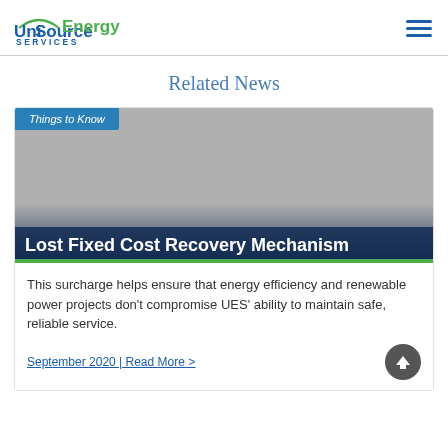UniSource Energy Services
Related News
[Figure (screenshot): News card image with 'Things to Know' label and dark overlay with title 'Lost Fixed Cost Recovery Mechanism' on grey background, green underline bar]
Lost Fixed Cost Recovery Mechanism
This surcharge helps ensure that energy efficiency and renewable power projects don't compromise UES' ability to maintain safe, reliable service.
September 2020 | Read More >